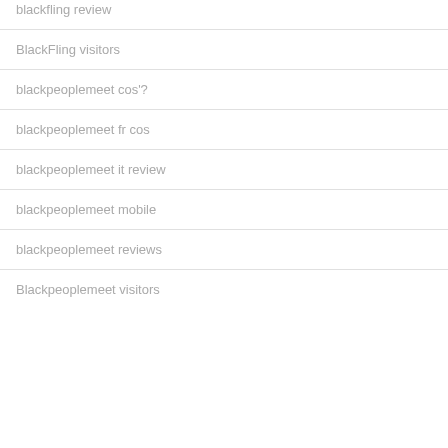blackfling review
BlackFling visitors
blackpeoplemeet cos'?
blackpeoplemeet fr cos
blackpeoplemeet it review
blackpeoplemeet mobile
blackpeoplemeet reviews
Blackpeoplemeet visitors